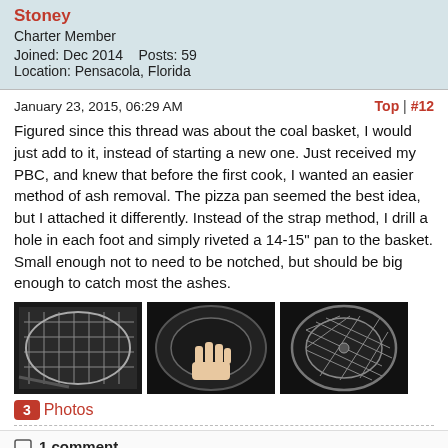Stoney
Charter Member
Joined: Dec 2014    Posts: 59
Location: Pensacola, Florida
January 23, 2015, 06:29 AM
Top | #12
Figured since this thread was about the coal basket, I would just add to it, instead of starting a new one. Just received my PBC, and knew that before the first cook, I wanted an easier method of ash removal. The pizza pan seemed the best idea, but I attached it differently. Instead of the strap method, I drill a hole in each foot and simply riveted a 14-15" pan to the basket. Small enough not to need to be notched, but should be big enough to catch most the ashes.
[Figure (photo): Three photos of a coal basket with a pizza pan attached using rivets through the feet]
3 Photos
1 comment
JPP commented
Top | #12.1
January 23, 2015, 03:28 PM